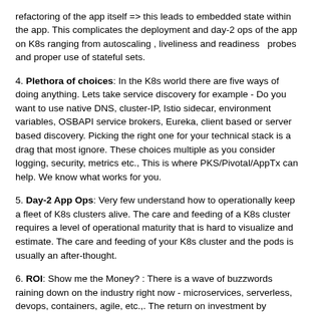refactoring of the app itself => this leads to embedded state within the app. This complicates the deployment and day-2 ops of the app on K8s ranging from autoscaling , liveliness and readiness  probes and proper use of stateful sets.
4. Plethora of choices: In the K8s world there are five ways of doing anything. Lets take service discovery for example - Do you want to use native DNS, cluster-IP, Istio sidecar, environment variables, OSBAPI service brokers, Eureka, client based or server based discovery. Picking the right one for your technical stack is a drag that most ignore. These choices multiple as you consider logging, security, metrics etc., This is where PKS/Pivotal/AppTx can help. We know what works for you.
5. Day-2 App Ops: Very few understand how to operationally keep a fleet of K8s clusters alive. The care and feeding of a K8s cluster requires a level of operational maturity that is hard to visualize and estimate. The care and feeding of your K8s cluster and the pods is usually an after-thought.
6. ROI: Show me the Money? : There is a wave of buzzwords raining down on the industry right now - microservices, serverless, devops, containers, agile, etc.,. The return on investment by rehosting, refactoring, replatforming or rebuilding/retiring an application is NOT clear. Developers follow mandates from the top. Is containerization really the right choice for your technical and business outcomes ? Is this a strategic play or a tactical play. All these options needs to be considered before a decision is made to containerize your legacy app. Pivotal AppTx has a structured